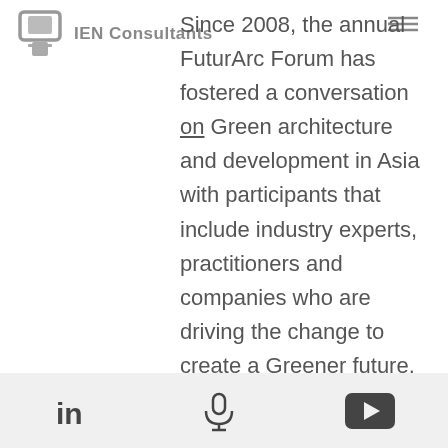IEN Consultants
Since 2008, the annual FuturArc Forum has fostered a conversation on Green architecture and development in Asia with participants that include industry experts, practitioners and companies who are driving the change to create a Greener future. This year, the Forum theme is "A New Era: Impact of Green Initiatives on the Architecture & Building Industry" and will cover a range of topics that are close to the pulse of recent developments, current issues and upcoming trajectories of things to come. Other speakers include Dr. Nirmal Kishnani, who is the editor in chief of the FuturArc magazine, Samantha Allen, who represents the
LinkedIn | Microphone | YouTube